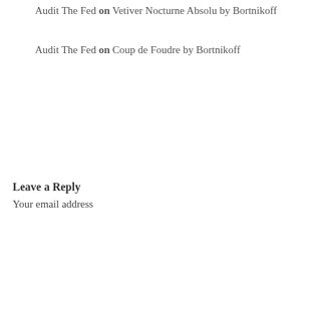Audit The Fed on Vetiver Nocturne Absolu by Bortnikoff
Audit The Fed on Coup de Foudre by Bortnikoff
Leave a Reply
Your email address